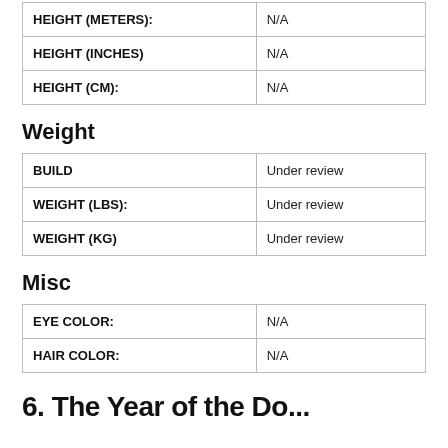|  |  |
| --- | --- |
| HEIGHT (METERS): | N/A |
| HEIGHT (INCHES) | N/A |
| HEIGHT (CM): | N/A |
Weight
|  |  |
| --- | --- |
| BUILD | Under review |
| WEIGHT (LBS): | Under review |
| WEIGHT (KG) | Under review |
Misc
|  |  |
| --- | --- |
| EYE COLOR: | N/A |
| HAIR COLOR: | N/A |
6. The Year of the Do...